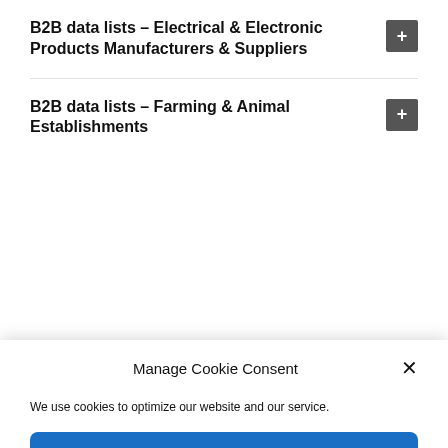B2B data lists – Electrical & Electronic Products Manufacturers & Suppliers
B2B data lists – Farming & Animal Establishments
Manage Cookie Consent
We use cookies to optimize our website and our service.
Accept cookies
Deny
View preferences
Cookie Policy   Privacy Statement